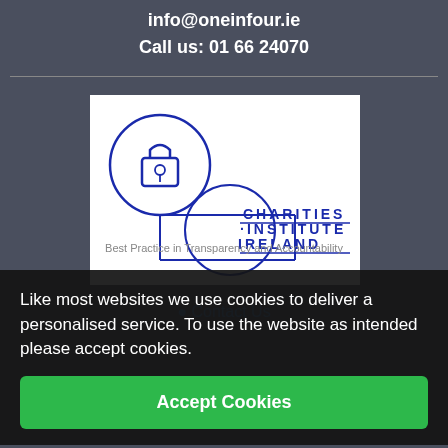info@oneinfour.ie
Call us: 01 66 24070
[Figure (logo): Charities Institute Ireland logo on white background with circular padlock icon and rectangle border]
Best Practice in Transparency and Accountability
Contact Us
Like most websites we use cookies to deliver a personalised service. To use the website as intended please accept cookies.
Accept Cookies
Opening times – Monday – Friday 9:30 – 17:50